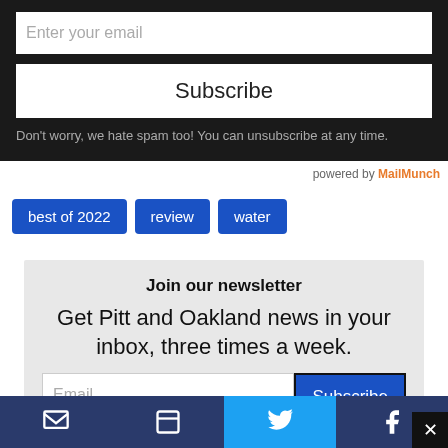Enter your email
Subscribe
Don't worry, we hate spam too! You can unsubscribe at any time.
powered by MailMunch
best of 2022
review
water
Join our newsletter
Get Pitt and Oakland news in your inbox, three times a week.
Email
Subscribe